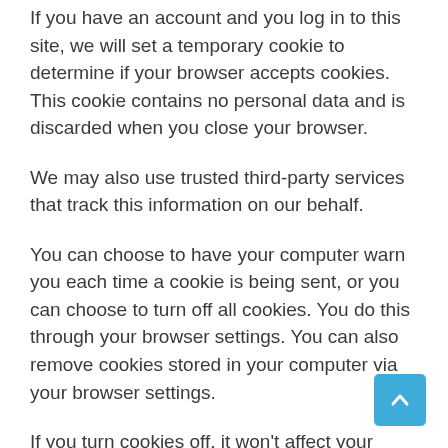If you have an account and you log in to this site, we will set a temporary cookie to determine if your browser accepts cookies. This cookie contains no personal data and is discarded when you close your browser.
We may also use trusted third-party services that track this information on our behalf.
You can choose to have your computer warn you each time a cookie is being sent, or you can choose to turn off all cookies. You do this through your browser settings. You can also remove cookies stored in your computer via your browser settings.
If you turn cookies off, it won't affect your website experience.